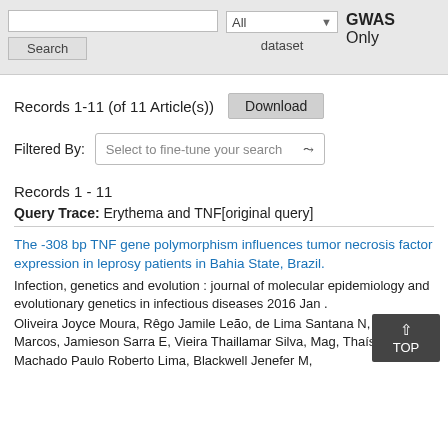[Figure (screenshot): Top search bar area with search input, Search button, All dataset dropdown, and GWAS Only label]
Records 1-11 (of 11 Article(s))
Download
Filtered By: Select to fine-tune your search
Records 1 - 11
Query Trace: Erythema and TNF[original query]
The -308 bp TNF gene polymorphism influences tumor necrosis factor expression in leprosy patients in Bahia State, Brazil.
Infection, genetics and evolution : journal of molecular epidemiology and evolutionary genetics in infectious diseases 2016 Jan .
Oliveira Joyce Moura, Rêgo Jamile Leão, de Lima Santana N, Braz Marcos, Jamieson Sarra E, Vieira Thaillamar Silva, Mag, Thaís Lamêgo, Machado Paulo Roberto Lima, Blackwell Jenefer M,